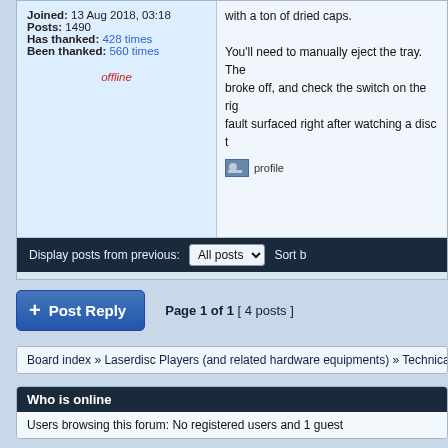Joined: 13 Aug 2018, 03:18
Posts: 1490
Has thanked: 428 times
Been thanked: 560 times
offline
You'll need to manually eject the tray. The broke off, and check the switch on the rig fault surfaced right after watching a disc t
profile
Display posts from previous: All posts Sort b
Post Reply
Page 1 of 1 [ 4 posts ]
Board index » Laserdisc Players (and related hardware equipments) » Technical questions,
Who is online
Users browsing this forum: No registered users and 1 guest